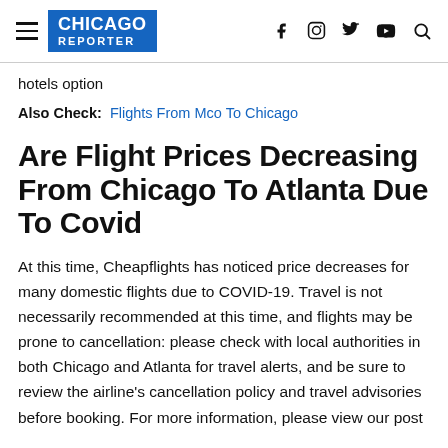Chicago Reporter
hotels option
Also Check: Flights From Mco To Chicago
Are Flight Prices Decreasing From Chicago To Atlanta Due To Covid
At this time, Cheapflights has noticed price decreases for many domestic flights due to COVID-19. Travel is not necessarily recommended at this time, and flights may be prone to cancellation: please check with local authorities in both Chicago and Atlanta for travel alerts, and be sure to review the airline's cancellation policy and travel advisories before booking. For more information, please view our post